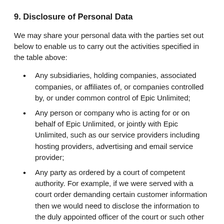9. Disclosure of Personal Data
We may share your personal data with the parties set out below to enable us to carry out the activities specified in the table above:
Any subsidiaries, holding companies, associated companies, or affiliates of, or companies controlled by, or under common control of Epic Unlimited;
Any person or company who is acting for or on behalf of Epic Unlimited, or jointly with Epic Unlimited, such as our service providers including hosting providers, advertising and email service provider;
Any party as ordered by a court of competent authority. For example, if we were served with a court order demanding certain customer information then we would need to disclose the information to the duly appointed officer of the court or such other persons as the court orders.